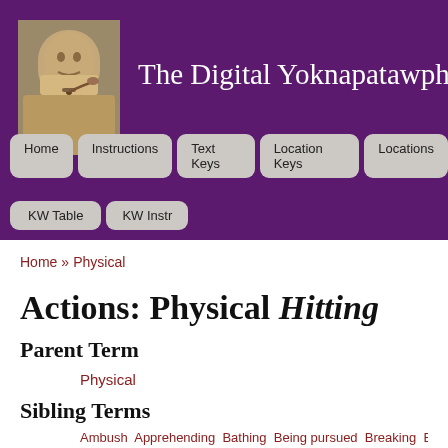The Digital Yoknapatawpha P
[Figure (photo): Sepia-toned portrait photo of William Faulkner smoking a pipe]
Home » Physical
Actions: Physical Hitting
Parent Term
Physical
Sibling Terms
Ambush  Apprehending  Bathing  Being pursued  Breaking  Building...